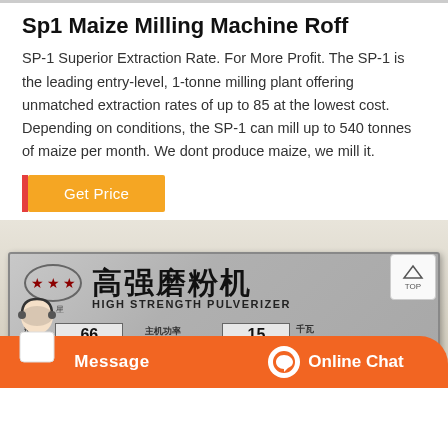Sp1 Maize Milling Machine Roff
SP-1 Superior Extraction Rate. For More Profit. The SP-1 is the leading entry-level, 1-tonne milling plant offering unmatched extraction rates of up to 85 at the lowest cost. Depending on conditions, the SP-1 can mill up to 540 tonnes of maize per month. We dont produce maize, we mill it.
[Figure (photo): Metal nameplate for High Strength Pulverizer (高强磨粉机), showing model number 66 and mainframe power 15 KW, with a star logo in an oval, Chinese and English text]
Message  Online Chat